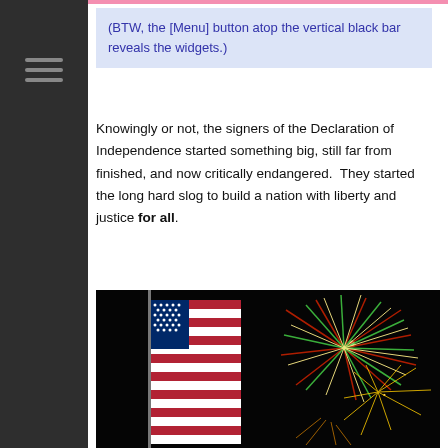(BTW, the [Menu] button atop the vertical black bar reveals the widgets.)
Knowingly or not, the signers of the Declaration of Independence started something big, still far from finished, and now critically endangered.  They started the long hard slog to build a nation with liberty and justice for all.
[Figure (photo): American flag against dark night sky with colorful fireworks exploding in the background]